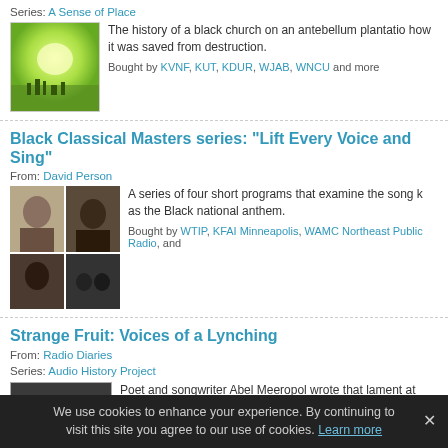Series: A Sense of Place
[Figure (photo): Green glowing landscape thumbnail image]
The history of a black church on an antebellum plantation how it was saved from destruction.
Bought by KVNF, KUT, KDUR, WJAB, WNCU and more
Black Classical Masters series: "Lift Every Voice and Sing"
From: David Person
[Figure (photo): Grid of four black and white portrait photos]
A series of four short programs that examine the song known as the Black national anthem.
Bought by WTIP, KFAI Minneapolis, WAMC Northeast Public Radio, and
Strange Fruit: Voices of a Lynching
From: Radio Diaries
Series: Audio History Project
[Figure (photo): Black and white crowd photograph]
Poet and songwriter Abel Meeropol wrote that lament after seeing a photograph of two black teenagers hanging from a tree.
Bought by PRX Remix, Marfa Public Radio, KUER, WMMT, KFAI Minneapolis and more
We use cookies to enhance your experience. By continuing to visit this site you agree to our use of cookies. Learn more